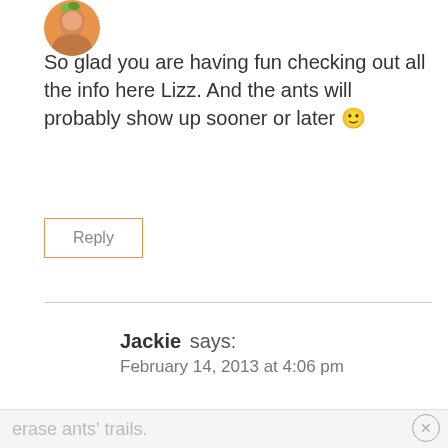[Figure (photo): Circular avatar photo of a person with orange/warm background]
So glad you are having fun checking out all the info here Lizz. And the ants will probably show up sooner or later 🙂
Reply
Jackie says:
February 14, 2013 at 4:06 pm
I also use the vinegar/water spritzing to
erase ants' trails.